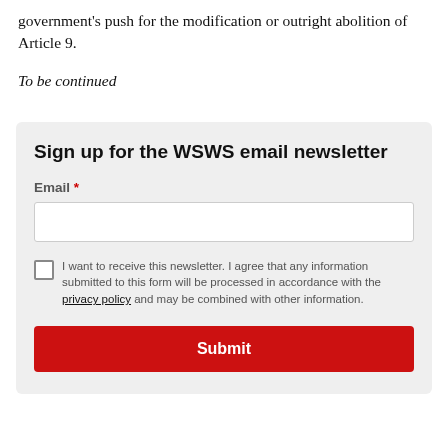government's push for the modification or outright abolition of Article 9.
To be continued
Sign up for the WSWS email newsletter
Email *
I want to receive this newsletter. I agree that any information submitted to this form will be processed in accordance with the privacy policy and may be combined with other information.
Submit